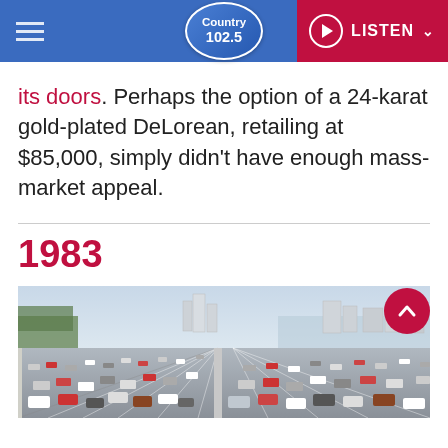Country 102.5 | LISTEN
its doors. Perhaps the option of a 24-karat gold-plated DeLorean, retailing at $85,000, simply didn't have enough mass-market appeal.
1983
[Figure (photo): Aerial view of a congested multi-lane freeway with heavy traffic, city skyline and bay visible in the background under a hazy sky]